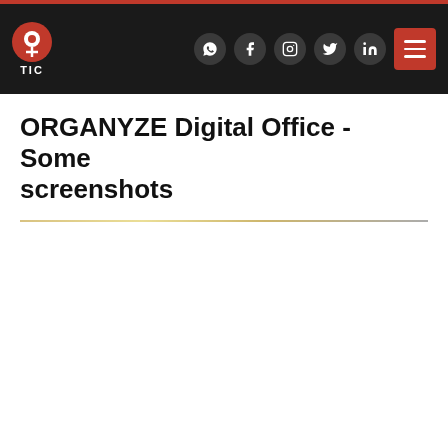TIC — navigation header with social icons and menu button
ORGANYZE Digital Office - Some screenshots
Call Us  Write To Us